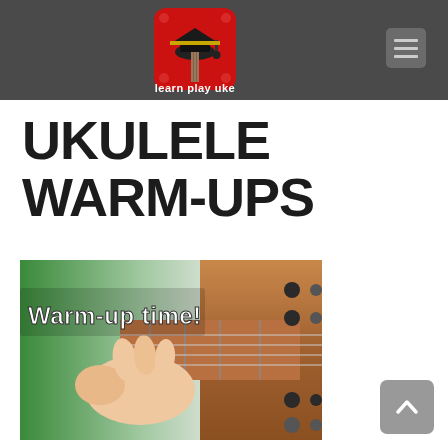[Figure (logo): Learn Play Uke logo: red rounded square with graduation cap icon and 'learn play uke' text below]
UKULELE WARM-UPS
[Figure (photo): Photo of a hand playing ukulele strings with 'Warm-up time!' text overlay on green and wood background]